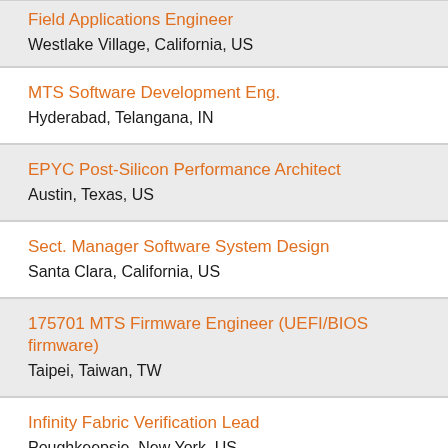Field Applications Engineer
Westlake Village, California, US
MTS Software Development Eng.
Hyderabad, Telangana, IN
EPYC Post-Silicon Performance Architect
Austin, Texas, US
Sect. Manager Software System Design
Santa Clara, California, US
175701 MTS Firmware Engineer (UEFI/BIOS firmware)
Taipei, Taiwan, TW
Infinity Fabric Verification Lead
Poughkeepsie, New York, US
Sr. Software Development Engineer